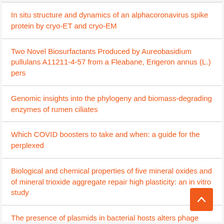In situ structure and dynamics of an alphacoronavirus spike protein by cryo-ET and cryo-EM
Two Novel Biosurfactants Produced by Aureobasidium pullulans A11211-4-57 from a Fleabane, Erigeron annus (L.) pers
Genomic insights into the phylogeny and biomass-degrading enzymes of rumen ciliates
Which COVID boosters to take and when: a guide for the perplexed
Biological and chemical properties of five mineral oxides and of mineral trioxide aggregate repair high plasticity: an in vitro study
The presence of plasmids in bacterial hosts alters phage isolation and infectivity